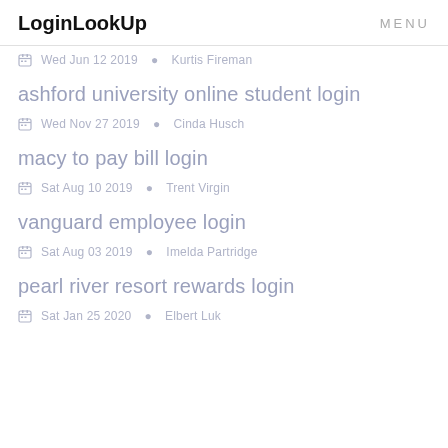LoginLookUp  MENU
Wed Jun 12 2019  Kurtis Fireman
ashford university online student login
Wed Nov 27 2019  Cinda Husch
macy to pay bill login
Sat Aug 10 2019  Trent Virgin
vanguard employee login
Sat Aug 03 2019  Imelda Partridge
pearl river resort rewards login
Sat Jan 25 2020  Elbert Luk